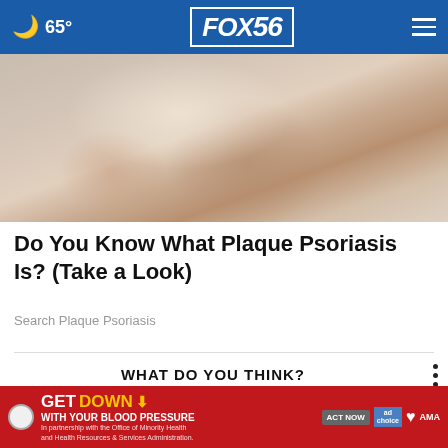🌙 65° | FOX 56
[Figure (photo): Close-up photo of a foot/heel showing dry, flaky skin consistent with plaque psoriasis, on a light wooden floor background]
Do You Know What Plaque Psoriasis Is? (Take a Look)
Search Plaque Psoriasis
WHAT DO YOU THINK?
How often do you play the lottery?
[Figure (screenshot): Red advertisement banner: GET DOWN WITH YOUR BLOOD PRESSURE - In partnership with the Office of Minority Health and Health Resources & Services Administration. ACT NOW button. Ad Choices, American Heart Association, and AMA logos.]